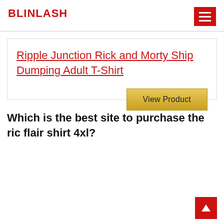BLINLASH
Ripple Junction Rick and Morty Ship Dumping Adult T-Shirt
View Product
Which is the best site to purchase the ric flair shirt 4xl?